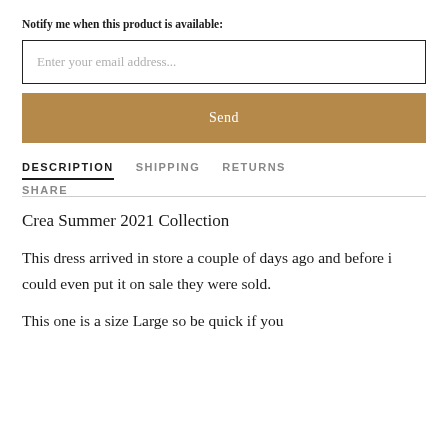Notify me when this product is available:
[Figure (screenshot): Email input field with placeholder text 'Enter your email address...']
[Figure (screenshot): Send button with tan/gold background color]
DESCRIPTION   SHIPPING   RETURNS   SHARE
Crea Summer 2021 Collection
This dress arrived in store a couple of days ago and before i could even put it on sale they were sold.
This one is a size Large so be quick if you